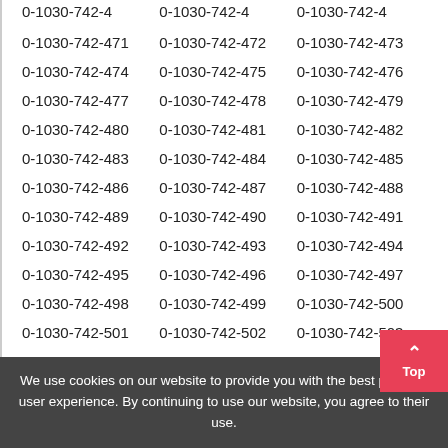0-1030-742-470
0-1030-742-471
0-1030-742-472
0-1030-742-473
0-1030-742-474
0-1030-742-475
0-1030-742-476
0-1030-742-477
0-1030-742-478
0-1030-742-479
0-1030-742-480
0-1030-742-481
0-1030-742-482
0-1030-742-483
0-1030-742-484
0-1030-742-485
0-1030-742-486
0-1030-742-487
0-1030-742-488
0-1030-742-489
0-1030-742-490
0-1030-742-491
0-1030-742-492
0-1030-742-493
0-1030-742-494
0-1030-742-495
0-1030-742-496
0-1030-742-497
0-1030-742-498
0-1030-742-499
0-1030-742-500
0-1030-742-501
0-1030-742-502
0-1030-742-503
0-1030-742-504
0-1030-742-505
0-1030-742-506
0-1030-742-507
0-1030-742-508
0-1030-742-509
0-1030-742-510
0-1030-742-511
0-1030-742-512
0-1030-742-513
0-1030-742-514
0-1030-742-515
We use cookies on our website to provide you with the best possible user experience. By continuing to use our website, you agree to their use.